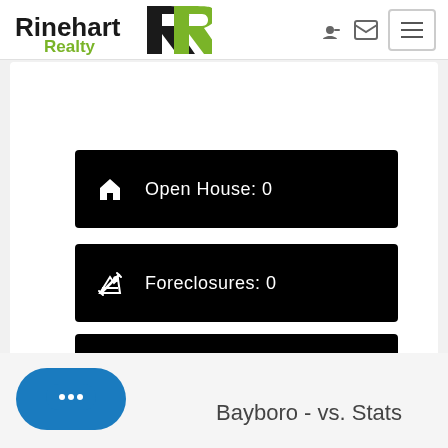[Figure (logo): Rinehart Realty logo with green and black text and stylized R icon]
Open House: 0
Foreclosures: 0
Short Sales: 0
Bayboro - vs. Stats